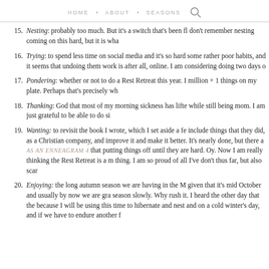HOME • ABOUT • SEASONS
15. Nesting: probably too much. But it's a switch that's been fl don't remember nesting coming on this hard, but it is wha
16. Trying: to spend less time on social media and it's so hard some rather poor habits, and it seems that undoing them work is after all, online. I am considering doing two days o
17. Pondering: whether or not to do a Rest Retreat this year. I million + 1 things on my plate. Perhaps that's precisely wh
18. Thanking: God that most of my morning sickness has lifte while still being mom. I am just grateful to be able to do si
19. Wanting: to revisit the book I wrote, which I set aside a fe include things that they did, as a Christian company, and improve it and make it better. It's nearly done, but there a AS AN ENNEAGRAM 4 that putting things off until they are hard. Oy. Now I am really thinking the Rest Retreat is a m thing. I am so proud of all I've don't thus far, but also scar
20. Enjoying: the long autumn season we are having in the M given that it's mid October and usually by now we are gra season slowly. Why rush it. I heard the other day that the because I will be using this time to hibernate and nest and on a cold winter's day, and if we have to endure another f